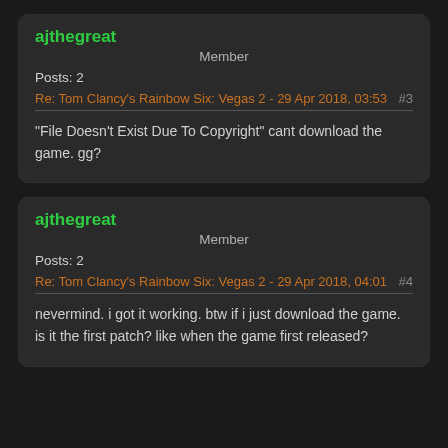ajthegreat
Member
Posts: 2
Re: Tom Clancy's Rainbow Six: Vegas 2 - 29 Apr 2018, 03:53   #3
"File Doesn't Exist Due To Copyright" cant download the game. gg?
ajthegreat
Member
Posts: 2
Re: Tom Clancy's Rainbow Six: Vegas 2 - 29 Apr 2018, 04:01   #4
nevermind. i got it working. btw if i just download the game. is it the first patch? like when the game first released?